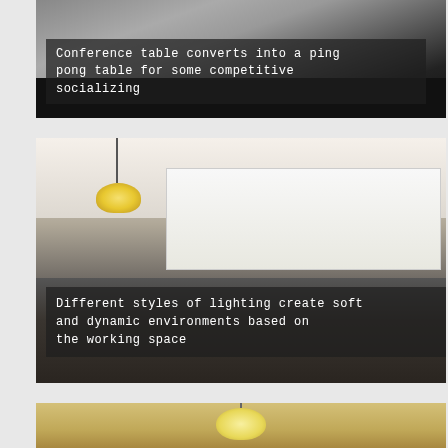[Figure (photo): A conference room with a long dark table that converts into a ping pong table. Dark ceiling and chairs visible. Semi-transparent dark overlay with white text caption.]
Conference table converts into a ping pong table for some competitive socializing
[Figure (photo): An open office workspace with exposed ceiling, industrial lighting, a large skylight or bright window area, pendant lamp in foreground, and workstations visible in the background. Semi-transparent dark overlay with white text caption.]
Different styles of lighting create soft and dynamic environments based on the working space
[Figure (photo): Partial view of a warm-toned ceiling with a round pendant lamp, similar warm industrial office environment.]